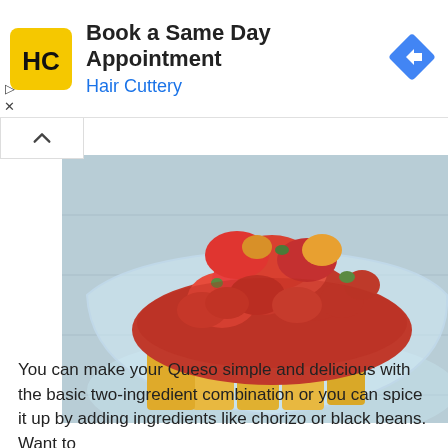[Figure (other): Hair Cuttery advertisement banner with yellow logo showing HC initials, text 'Book a Same Day Appointment' and 'Hair Cuttery', and a blue diamond navigation icon on the right. Play and X controls on the left side.]
[Figure (photo): Close-up photo of a glass bowl containing cheese slices topped with chunky tomato salsa/diced tomatoes. The bowl sits on a light blue/gray wooden surface.]
You can make your Queso simple and delicious with the basic two-ingredient combination or you can spice it up by adding ingredients like chorizo or black beans. Want to